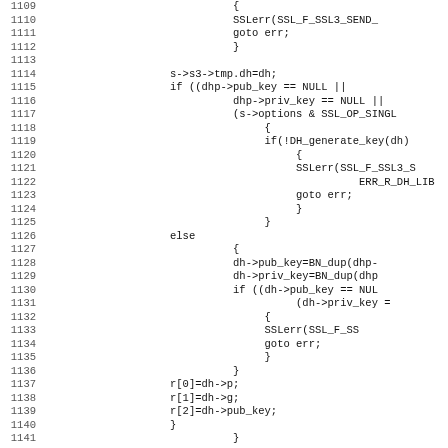[Figure (screenshot): Source code listing showing C code for SSL/DH key handling, lines 1109-1141, with line numbers on the left and code on the right in monospace font.]